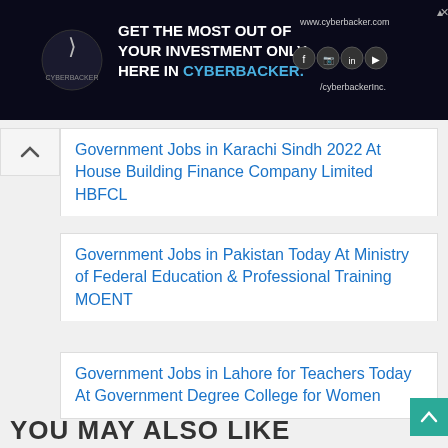[Figure (photo): Cyberbacker advertisement banner with logo, text 'GET THE MOST OUT OF YOUR INVESTMENT ONLY HERE IN CYBERBACKER.' and social media icons on dark background]
Government Jobs in Karachi Sindh 2022 At House Building Finance Company Limited HBFCL
Government Jobs in Pakistan Today At Ministry of Federal Education & Professional Training MOENT
Government Jobs in Lahore for Teachers Today At Government Degree College for Women
YOU MAY ALSO LIKE